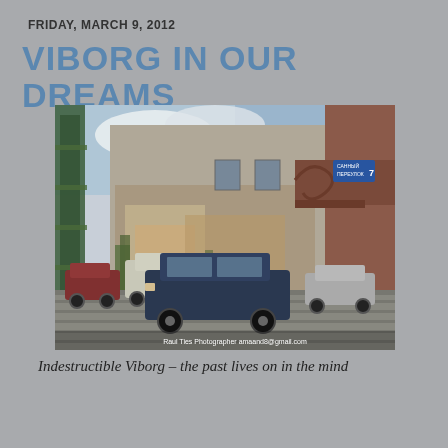FRIDAY, MARCH 9, 2012
VIBORG IN OUR DREAMS
[Figure (photo): Street scene in Viborg showing a dark blue car in the foreground, weathered historic buildings with peeling paint in the background, and ornate reddish-brown architectural cornice/bracket on the right side with a blue street sign. Photo credits: Raul Ties Photographer and amaand8@gmail.com]
Indestructible Viborg – the past lives on in the mind